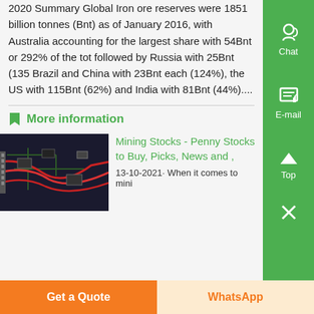2020 Summary Global Iron ore reserves were 1851 billion tonnes (Bnt) as of January 2016, with Australia accounting for the largest share with 54Bnt or 292% of the tot followed by Russia with 25Bnt (135 Brazil and China with 23Bnt each (124%), the US with 115Bnt (62%) and India with 81Bnt (44%)....
More information
[Figure (photo): Photo of computer hardware/mining equipment with red wires and circuit boards]
Mining Stocks - Penny Stocks to Buy, Picks, News and ,
13-10-2021· When it comes to mini